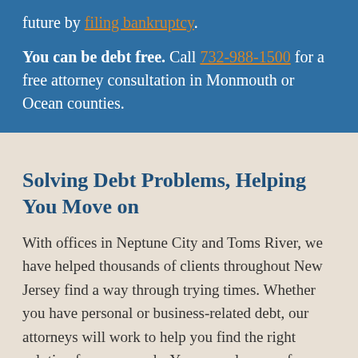future by filing bankruptcy.
You can be debt free. Call 732-988-1500 for a free attorney consultation in Monmouth or Ocean counties.
Solving Debt Problems, Helping You Move on
With offices in Neptune City and Toms River, we have helped thousands of clients throughout New Jersey find a way through trying times. Whether you have personal or business-related debt, our attorneys will work to help you find the right solution for your needs. You can rely on us for sound advice for any debt problem you may face.
Personal bankruptcy: Whether you are